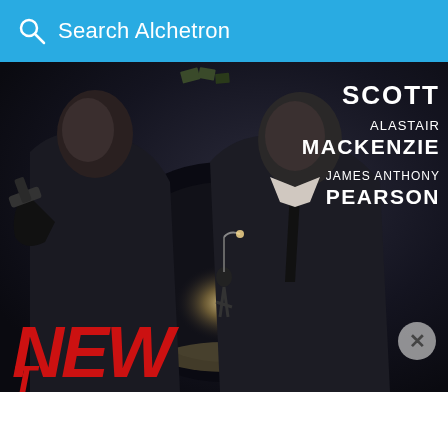Search Alchetron
[Figure (photo): Movie poster featuring two men in dark clothing against a dark background. Text on poster reads: SCOTT, ALASTAIR MACKENZIE, JAMES ANTHONY PEARSON. Large red italic text at bottom reads NEW (partially visible). A running figure is visible in a lit tunnel/road in the background.]
id-19